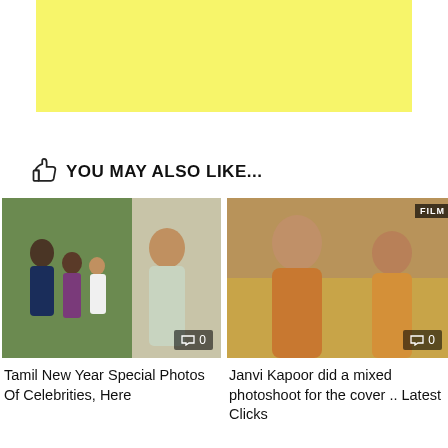[Figure (other): Yellow advertisement banner placeholder]
YOU MAY ALSO LIKE...
[Figure (photo): Tamil celebrities photo collage - family group and woman in saree]
[Figure (photo): Janvi Kapoor mixed photoshoot cover photos in golden/mustard outfits]
Tamil New Year Special Photos Of Celebrities, Here
Janvi Kapoor did a mixed photoshoot for the cover .. Latest Clicks